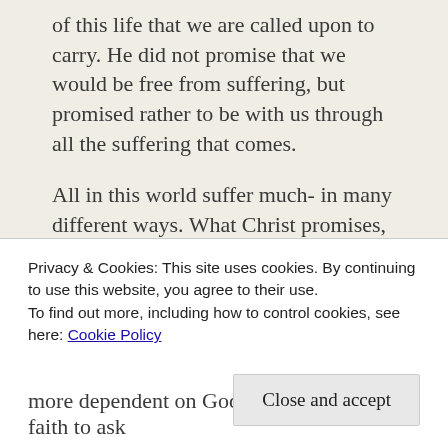of this life that we are called upon to carry. He did not promise that we would be free from suffering, but promised rather to be with us through all the suffering that comes.
All in this world suffer much- in many different ways. What Christ promises, if we will deny ourselves, is the peace and the power to persevere. And in that we experience the joy of "sharing in His sufferings" (Philippians 2:10).
We can all think back through the most difficult...
Privacy & Cookies: This site uses cookies. By continuing to use this website, you agree to their use.
To find out more, including how to control cookies, see here: Cookie Policy
more dependent on God. Lord, give us the faith to ask